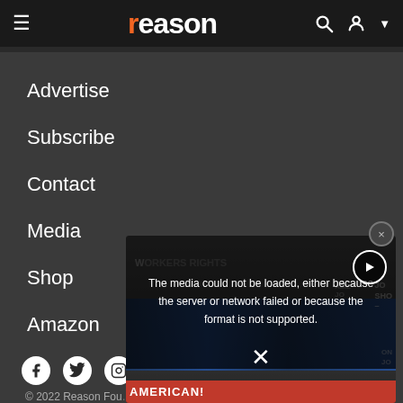reason
Advertise
Subscribe
Contact
Media
Shop
Amazon
[Figure (screenshot): Social media icons: Facebook, Twitter, Instagram, and another icon]
[Figure (screenshot): Video player overlay showing error message: The media could not be loaded, either because the server or network failed or because the format is not supported. Background shows protest scene with AMERICAN banner.]
© 2022 Reason Fou…